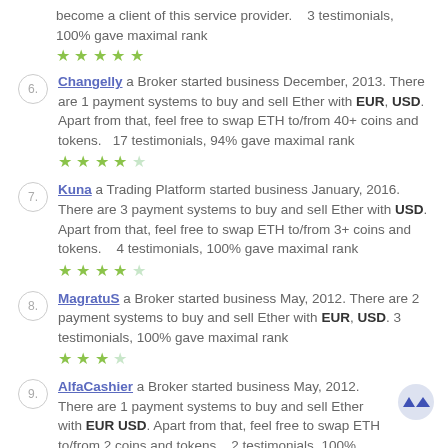become a client of this service provider.    3 testimonials, 100% gave maximal rank
★★★★★
6. Changelly a Broker started business December, 2013. There are 1 payment systems to buy and sell Ether with EUR, USD. Apart from that, feel free to swap ETH to/from 40+ coins and tokens.    17 testimonials, 94% gave maximal rank
★★★★☆
7. Kuna a Trading Platform started business January, 2016. There are 3 payment systems to buy and sell Ether with USD. Apart from that, feel free to swap ETH to/from 3+ coins and tokens.    4 testimonials, 100% gave maximal rank
★★★★☆
8. MagratuS a Broker started business May, 2012. There are 2 payment systems to buy and sell Ether with EUR, USD. 3 testimonials, 100% gave maximal rank
★★★★☆
9. AlfaCashier a Broker started business May, 2012. There are 1 payment systems to buy and sell Ether with EUR USD. Apart from that, feel free to swap ETH to/from 2 coins and tokens.    2 testimonials, 100% gave maximal rank